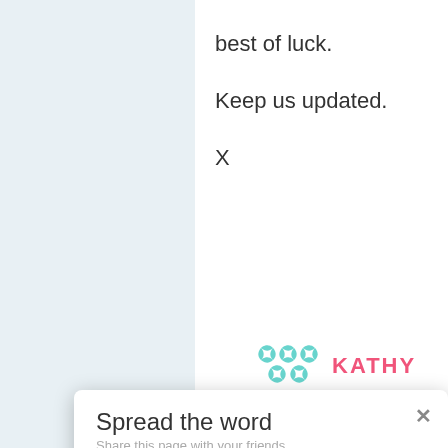best of luck.

Keep us updated.

X
[Figure (logo): Teal decorative cross/flower pattern logo with KATHY text in pink]
Spread the word
Share this page with your friends.
Facebook
Twitter
LinkedIn